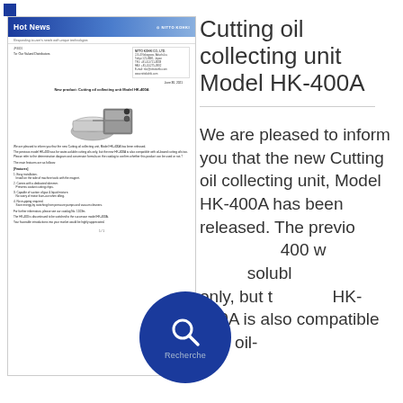[Figure (screenshot): Thumbnail preview of a Nitto Kohki 'Hot News' document about the Cutting oil collecting unit Model HK-400A, featuring a product image and text content.]
Cutting oil collecting unit Model HK-400A
We are pleased to inform you that the new Cutting oil collecting unit, Model HK-400A has been released. The previous model HK-400 was for water-soluble cutting oils only, but the new HK-400A is also compatible with oil-